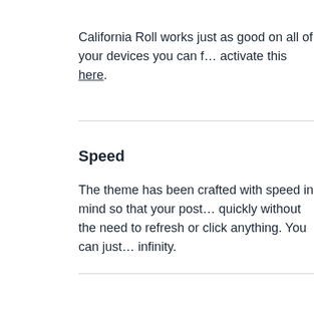California Roll works just as good on all of your devices you can activate this here.
Speed
The theme has been crafted with speed in mind so that your posts load quickly without the need to refresh or click anything. You can just scroll to infinity.
Colours
We've got you covered. There are built in customisable colour options to instantly change the look and feel of the theme however you feel. You can customize page background, text colour, link colour, buttons and more.
Logo